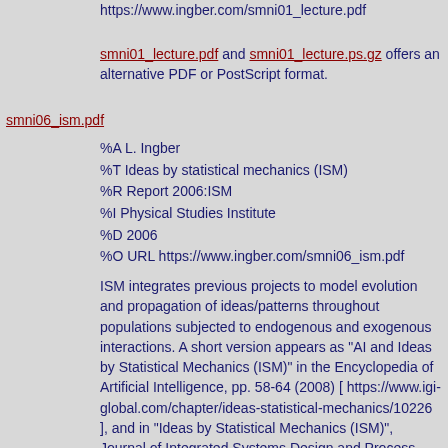https://www.ingber.com/smni01_lecture.pdf
smni01_lecture.pdf and smni01_lecture.ps.gz offers an alternative PDF or PostScript format.
smni06_ism.pdf
%A L. Ingber
%T Ideas by statistical mechanics (ISM)
%R Report 2006:ISM
%I Physical Studies Institute
%D 2006
%O URL https://www.ingber.com/smni06_ism.pdf
ISM integrates previous projects to model evolution and propagation of ideas/patterns throughout populations subjected to endogenous and exogenous interactions. A short version appears as "AI and Ideas by Statistical Mechanics (ISM)" in the Encyclopedia of Artificial Intelligence, pp. 58-64 (2008) [ https://www.igi-global.com/chapter/ideas-statistical-mechanics/10226 ], and in "Ideas by Statistical Mechanics (ISM)", Journal of Integrated Systems Design and Process Science, Vol. 11, No. 3, pp. 31-54 (2007), Special Issue: Biologically Inspired Computing [ https://dl.acm.org/doi/abs/10.5555/1517398.1517402 ].